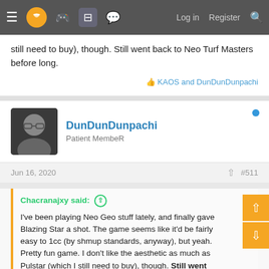≡ [logo] [game controller icon] [grid icon] [chat icon] | Log in  Register [search]
still need to buy), though. Still went back to Neo Turf Masters before long.
👍 KAOS and DunDunDunpachi
DunDunDunpachi
Patient MembeR
Jun 16, 2020  #511
Chacranajxy said: ↑

I've been playing Neo Geo stuff lately, and finally gave Blazing Star a shot. The game seems like it'd be fairly easy to 1cc (by shmup standards, anyway), but yeah. Pretty fun game. I don't like the aesthetic as much as Pulstar (which I still need to buy), though. Still went back to Neo Turf Masters before long.
I mean... hard to blame you there 🤷